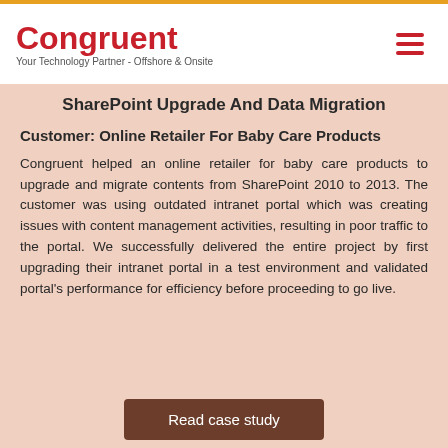Congruent — Your Technology Partner - Offshore & Onsite
SharePoint Upgrade And Data Migration
Customer: Online Retailer For Baby Care Products
Congruent helped an online retailer for baby care products to upgrade and migrate contents from SharePoint 2010 to 2013. The customer was using outdated intranet portal which was creating issues with content management activities, resulting in poor traffic to the portal. We successfully delivered the entire project by first upgrading their intranet portal in a test environment and validated portal's performance for efficiency before proceeding to go live.
Read case study